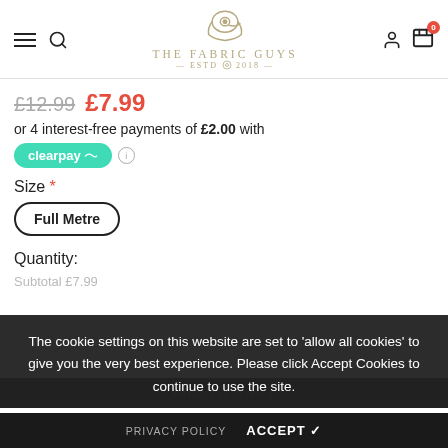[Figure (logo): The Fabric Guys logo with sewing machine icon, established 2018]
£12.99  £7.99
or 4 interest-free payments of £2.00 with
[Figure (logo): Clearpay logo button]
Size *
Full Metre
Quantity:
Subtotal  £7.99
The cookie settings on this website are set to 'allow all cookies' to give you the very best experience. Please click Accept Cookies to continue to use the site.
PRIVACY POLICY   ACCEPT ✔
ADD TO CART